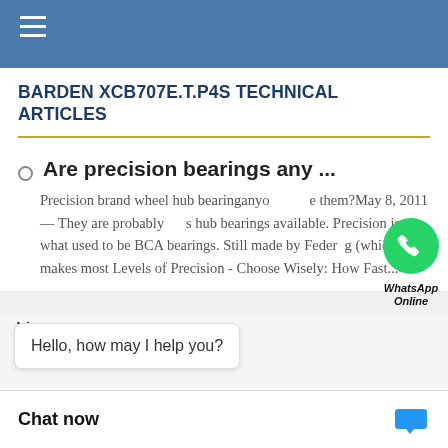☰
BARDEN XCB707E.T.P4S TECHNICAL ARTICLES
Are precision bearings any ...
Precision brand wheel hub bearinganyo e them?May 8, 2011 — They are probably s hub bearings available. Precision is what used to be BCA bearings. Still made by Federg (which makes most Levels of Precision - Choose Wisely: How Fast...
...take axial l...
Which bearing will take axial and radial load? - ... bearing can take bot groove ball bearir ring * due to large
Hello, how may I help you?
Chat now